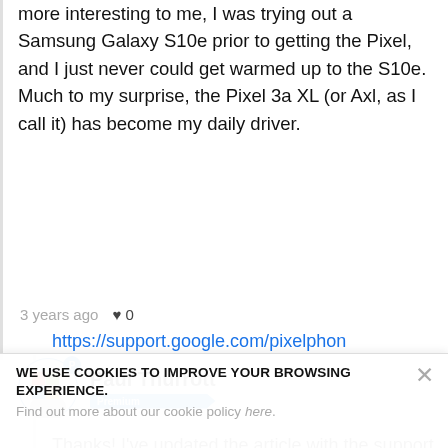more interesting to me, I was trying out a Samsung Galaxy S10e prior to getting the Pixel, and I just never could get warmed up to the S10e. Much to my surprise, the Pixel 3a XL (or Axl, as I call it) has become my daily driver.
3 years ago  ♥ 0
Paul Thurrott Premium
Thanks! I've updated the article with the support information. Which is here, if anyone is interested:
https://support.google.com/pixelphon
WE USE COOKIES TO IMPROVE YOUR BROWSING EXPERIENCE.
Find out more about our cookie policy here.